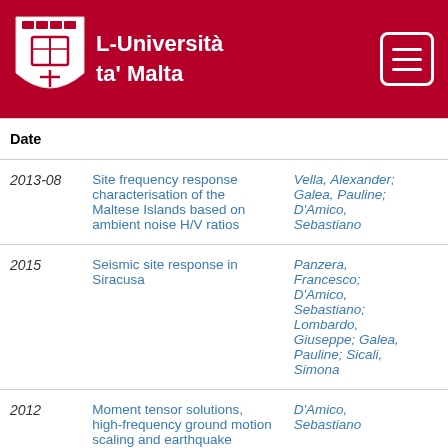L-Università ta' Malta
| Date | Title | Authors |
| --- | --- | --- |
| 2013-08 | Site frequency response characterisation of the Maltese Islands based on ambient noise H/V ratios | Vella, Alexander; Galea, Pauline; D'Amico, Sebastiano |
| 2015 | Seismic site response in Siracusa | Panzera, Francesco; D'Amico, Sebastiano; Lombardo, Giuseppe; Galea, Pauline; Sicali, Simona |
| 2012 | Moment tensor solutions, high-frequency ground motion scaling and earthquake simulations in southern Italy | D'Amico, Sebastiano |